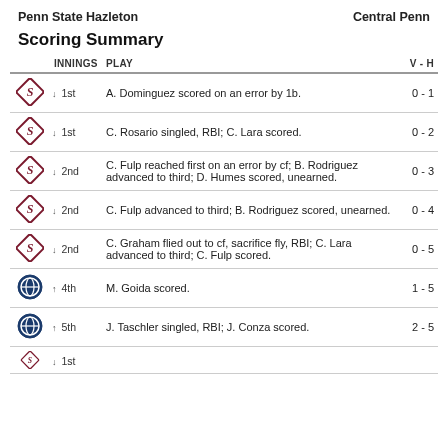Penn State Hazleton    Central Penn
Scoring Summary
| INNINGS | PLAY | V - H |
| --- | --- | --- |
| ↓ 1st | A. Dominguez scored on an error by 1b. | 0 - 1 |
| ↓ 1st | C. Rosario singled, RBI; C. Lara scored. | 0 - 2 |
| ↓ 2nd | C. Fulp reached first on an error by cf; B. Rodriguez advanced to third; D. Humes scored, unearned. | 0 - 3 |
| ↓ 2nd | C. Fulp advanced to third; B. Rodriguez scored, unearned. | 0 - 4 |
| ↓ 2nd | C. Graham flied out to cf, sacrifice fly, RBI; C. Lara advanced to third; C. Fulp scored. | 0 - 5 |
| ↑ 4th | M. Goida scored. | 1 - 5 |
| ↑ 5th | J. Taschler singled, RBI; J. Conza scored. | 2 - 5 |
| ↓ 1st | (partial row visible) |  |